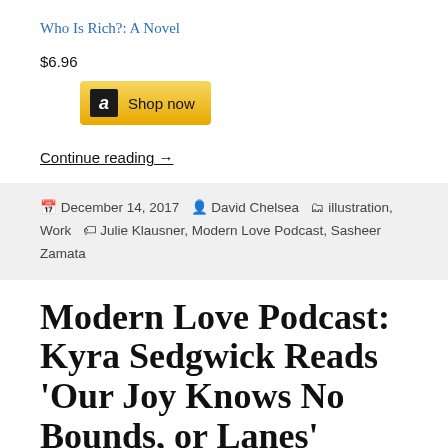Who Is Rich?: A Novel
$6.96
[Figure (screenshot): Amazon 'Shop now' button with Amazon logo on black background and gold/yellow button]
Continue reading →
December 14, 2017  David Chelsea  illustration, Work  Julie Klausner, Modern Love Podcast, Sasheer Zamata
Modern Love Podcast: Kyra Sedgwick Reads 'Our Joy Knows No Bounds, or Lanes'
[Figure (photo): Close-up photo of the front grille of a red truck/SUV showing a black mesh grille and headlights]